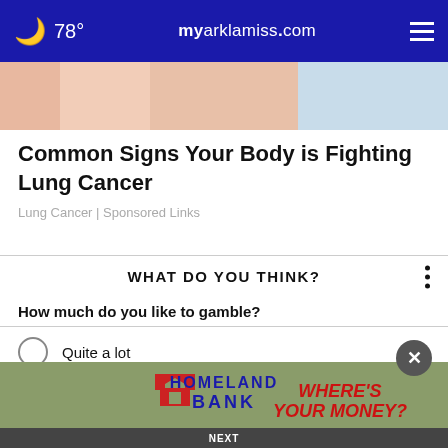78° myarklamiss.com
[Figure (photo): Advertisement image banner with skin-tone and light blue background]
Common Signs Your Body is Fighting Lung Cancer
Lung Cancer | Sponsored Links
WHAT DO YOU THINK?
How much do you like to gamble?
Quite a lot
Just a bit
Not at all
No opinion / Other
[Figure (logo): Homeland Bank advertisement banner — WHERE'S YOUR MONEY?]